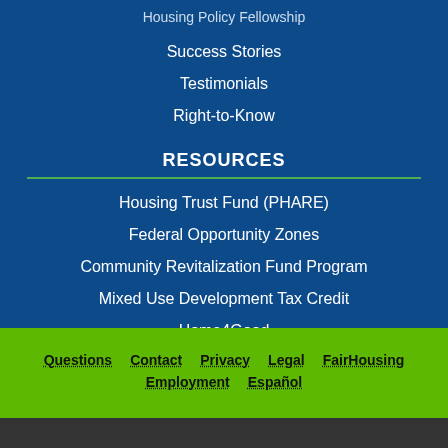Housing Policy Fellowship
Success Stories
Testimonials
Right-to-Know
RESOURCES
Housing Trust Fund (PHARE)
Federal Opportunity Zones
Community Revitalization Fund Program
Mixed Use Development Tax Credit
Home4Good
PA Housing Studies
Questions  Contact  Privacy  Legal  FairHousing  Employment  Español